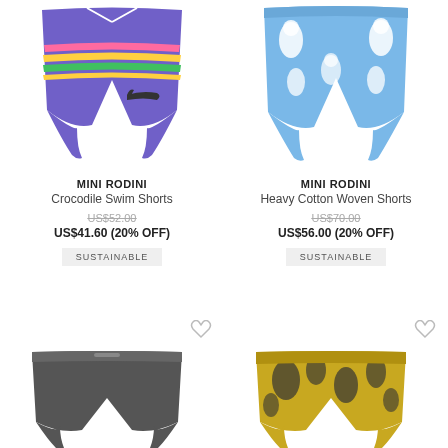[Figure (photo): Purple striped children's swim shorts with crocodile print, drawstring waist]
MINI RODINI
Crocodile Swim Shorts
US$52.00
US$41.60 (20% OFF)
SUSTAINABLE
[Figure (photo): Light blue children's shorts with dog/animal print pattern]
MINI RODINI
Heavy Cotton Woven Shorts
US$70.00
US$56.00 (20% OFF)
SUSTAINABLE
[Figure (photo): Dark grey/charcoal children's shorts, elastic waist]
[Figure (photo): Yellow/gold children's shorts with dark floral/leaf print pattern]